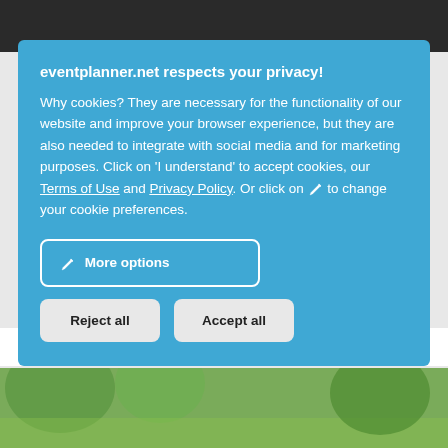[Figure (screenshot): Website screenshot showing a cookie consent dialog overlay on a webpage for eventplanner.net. The background shows a dark header bar at top, white content area with italic text 'Plein Publiek is a sustainable place to eat, dance and enjoy!', and a green outdoor photo at the bottom.]
eventplanner.net respects your privacy!
Why cookies? They are necessary for the functionality of our website and improve your browser experience, but they are also needed to integrate with social media and for marketing purposes. Click on 'I understand' to accept cookies, our Terms of Use and Privacy Policy. Or click on ✏ to change your cookie preferences.
✏ More options
Reject all
Accept all
Plein Publiek is a sustainable place to eat, dance and enjoy!